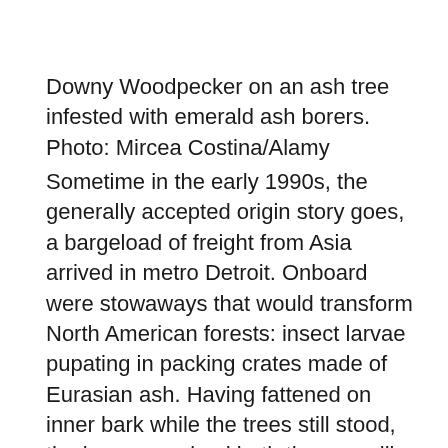Downy Woodpecker on an ash tree infested with emerald ash borers. Photo: Mircea Costina/Alamy
Sometime in the early 1990s, the generally accepted origin story goes, a bargeload of freight from Asia arrived in metro Detroit. Onboard were stowaways that would transform North American forests: insect larvae pupating in packing crates made of Eurasian ash. Having fattened on inner bark while the trees still stood, the larvae survived both the sawmill and an overseas voyage to emerge in southeast Michigan as iridescent green beetles called emerald ash borers. They flew off with...